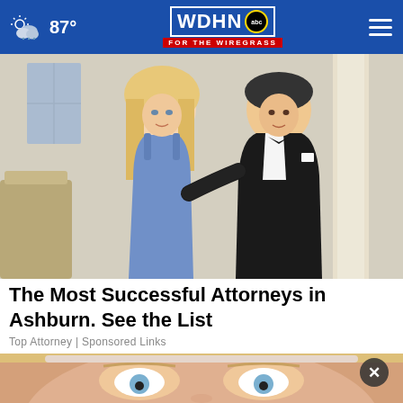87° WDHN abc FOR THE WIREGRASS
[Figure (photo): A couple dressed formally — woman in blue spaghetti-strap dress and man in black tuxedo with bow tie, posing together at an event]
The Most Successful Attorneys in Ashburn. See the List
Top Attorney | Sponsored Links
[Figure (photo): Close-up of a woman's face with blue eyes and blonde hair, partially shown at the bottom of the page, with a dark circular close (X) button overlay]